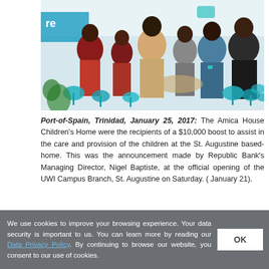[Figure (photo): Group of people at a ribbon-cutting ceremony inside a bank branch with teal/cyan decorations and bows. Several individuals in formal attire are gathered together, appears to be the official opening of UWI Campus Branch, St. Augustine.]
Port-of-Spain, Trinidad, January 25, 2017: The Amica House Children's Home were the recipients of a $10,000 boost to assist in the care and provision of the children at the St. Augustine based- home. This was the announcement made by Republic Bank's Managing Director, Nigel Baptiste, at the official opening of the UWI Campus Branch, St. Augustine on Saturday. ( January 21).
We use cookies to improve your browsing experience. Your data security is important to us. You can learn more by reading our Data Privacy Policy. By continuing to browse our website, you consent to our use of cookies.